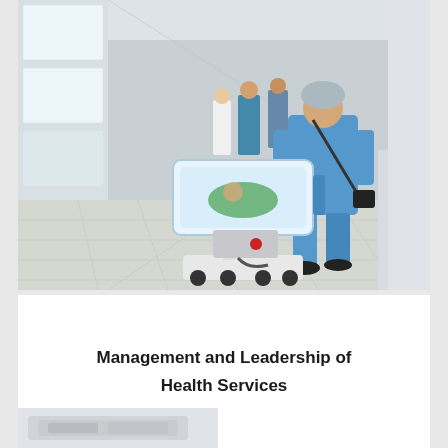[Figure (photo): A nurse or healthcare worker in blue scrubs and hair net pushing a neonatal incubator/transport isolette down a hospital corridor. Other people are visible in the background walking away. The corridor has large windows on the left side letting in natural light, white tile floor, and white walls.]
Management and Leadership of Health Services
[Figure (photo): Partial view of a white medical device or equipment, likely a hospital bed or medical apparatus, shown at the bottom of the page.]